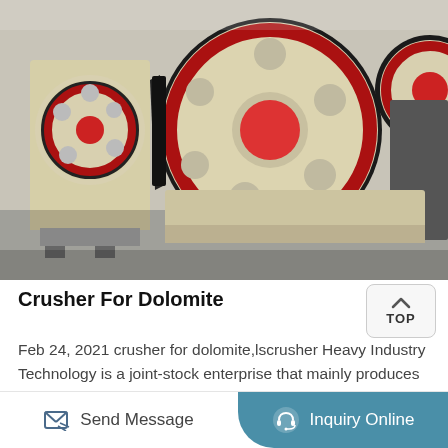[Figure (photo): Close-up photograph of an industrial jaw crusher machine with large cream/beige colored flywheels with red accents and circular holes, black belt drive, heavy-duty metal frame.]
Crusher For Dolomite
Feb 24, 2021 crusher for dolomite,lscrusher Heavy Industry Technology is a joint-stock enterprise that mainly produces large and medium-sized series of crushers, sand making machines, and mills, and integrates R&D, production and sales. he company regards product quality as the life of the company.
Send Message | Inquiry Online